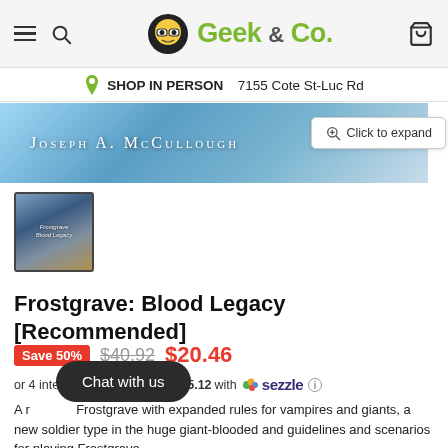Geek & Co. — SHOP IN PERSON 7155 Cote St-Luc Rd
[Figure (screenshot): Book cover banner: Joseph A. McCullough text on blue textured background]
[Figure (photo): Thumbnail of Frostgrave: Blood Legacy book cover]
Frostgrave: Blood Legacy [Recommended]
Save 50%  $40.92  $20.46
or 4 interest-free payments of $5.12 with Sezzle
A r... Frostgrave with expanded rules for vampires and giants, a new soldier type in the huge giant-blooded and guidelines and scenarios for playing Frostgrave